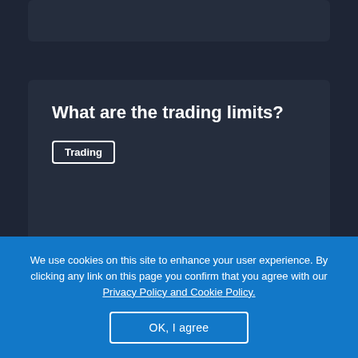[Figure (screenshot): Partially visible card at the top of the page with dark navy background]
What are the trading limits?
Trading
[Figure (screenshot): Partially visible card at the bottom of the page with dark navy background]
We use cookies on this site to enhance your user experience. By clicking any link on this page you confirm that you agree with our Privacy Policy and Cookie Policy.
OK, I agree